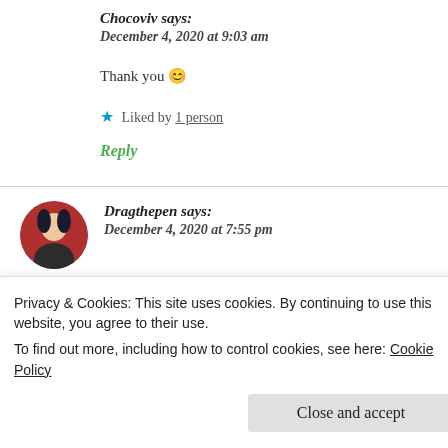Chocoviv says:
December 4, 2020 at 9:03 am
Thank you 😊
★ Liked by 1 person
Reply
Dragthepen says:
December 4, 2020 at 7:55 pm
Privacy & Cookies: This site uses cookies. By continuing to use this website, you agree to their use.
To find out more, including how to control cookies, see here: Cookie Policy
Close and accept